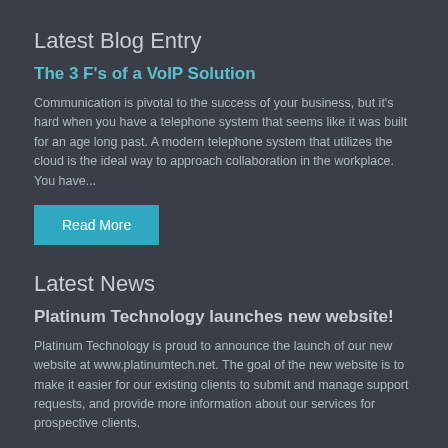Latest Blog Entry
The 3 F's of a VoIP Solution
Communication is pivotal to the success of your business, but it's hard when you have a telephone system that seems like it was built for an age long past. A modern telephone system that utilizes the cloud is the ideal way to approach collaboration in the workplace. You have...
Read More
Latest News
Platinum Technology launches new website!
Platinum Technology is proud to announce the launch of our new website at www.platinumtech.net. The goal of the new website is to make it easier for our existing clients to submit and manage support requests, and provide more information about our services for prospective clients.